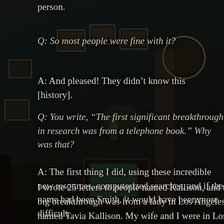person.
Q: So most people were fine with it?
A: And pleased! They didn't know this [history].
Q: You write, “The first significant breakthrough in research was from a telephone book.” Why was that?
A: The first thing I did, using these incredible new resources, computerized searches, and if the name had been Smith, it would have been more difficult.
I wrote 25 letters to people named Kallison, and the big breakthrough was from a lady in Los Angeles named Tavia Kallison. My wife and I were in Los